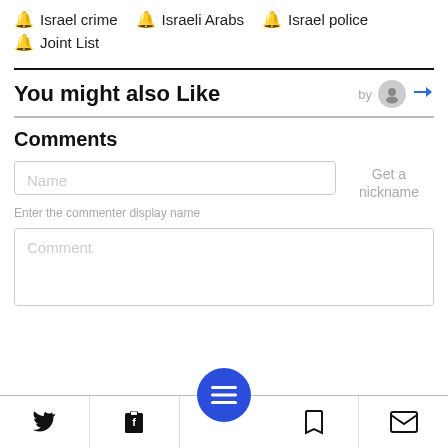Israel crime
Israeli Arabs
Israel police
Joint List
You might also Like
Comments
Name
Get a nickname
Enter the commenter display name
Comment